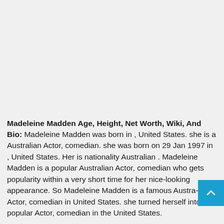Madeleine Madden Age, Height, Net Worth, Wiki, And Bio: Madeleine Madden was born in , United States. she is a Australian Actor, comedian. she was born on 29 Jan 1997 in , United States. Her is nationality Australian . Madeleine Madden is a popular Australian Actor, comedian who gets popularity within a very short time for her nice-looking appearance. So Madeleine Madden is a famous Australian Actor, comedian in United States. she turned herself into a popular Actor, comedian in the United States.